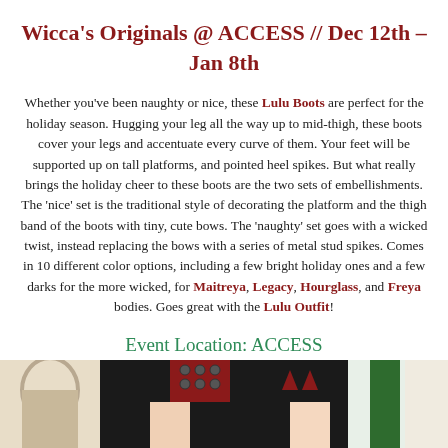Wicca's Originals @ ACCESS // Dec 12th – Jan 8th
Whether you've been naughty or nice, these Lulu Boots are perfect for the holiday season. Hugging your leg all the way up to mid-thigh, these boots cover your legs and accentuate every curve of them. Your feet will be supported up on tall platforms, and pointed heel spikes. But what really brings the holiday cheer to these boots are the two sets of embellishments. The 'nice' set is the traditional style of decorating the platform and the thigh band of the boots with tiny, cute bows. The 'naughty' set goes with a wicked twist, instead replacing the bows with a series of metal stud spikes. Comes in 10 different color options, including a few bright holiday ones and a few darks for the more wicked, for Maitreya, Legacy, Hourglass, and Freya bodies. Goes great with the Lulu Outfit!
Event Location: ACCESS
[Figure (photo): Partial photo strip at the bottom showing boots on legs against a light background]